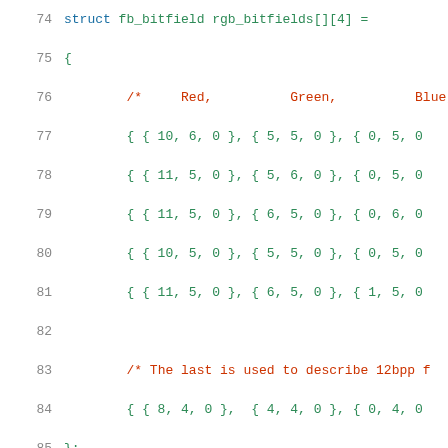[Figure (screenshot): Source code listing showing C struct definitions for framebuffer bitfields and screeninfo, lines 74-95]